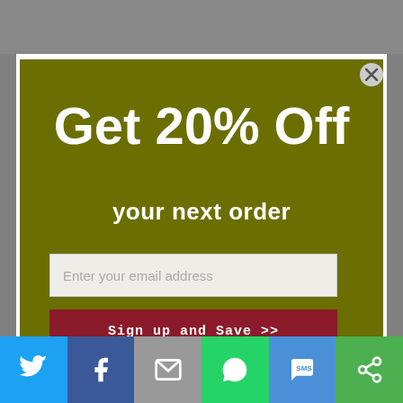Get 20% Off
your next order
Enter your email address
Sign up and Save >>
Note: Discount only available on Source and SirVital retail products
[Figure (infographic): Social sharing bar with Twitter, Facebook, Email, WhatsApp, SMS, and another share icon buttons]